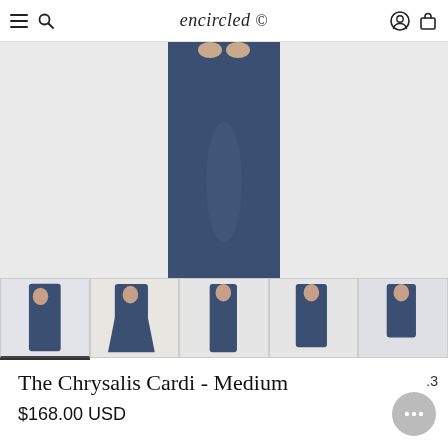encircled (logo with hamburger menu, search, account, and cart icons)
[Figure (photo): Main product photo showing a woman wearing a navy blue long maxi cardigan dress, cropped to show torso and skirt against a light grey background.]
[Figure (photo): Five thumbnail images of the Chrysalis Cardi in navy, showing different styling options: maxi skirt style, skirt twirl, side view, midi length, and asymmetric drape.]
The Chrysalis Cardi - Medium
$168.00 USD